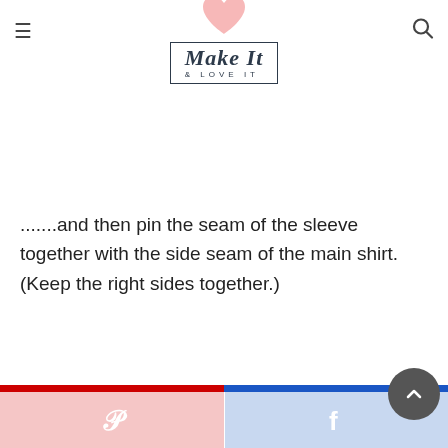Make It & LOVE IT
.......and then pin the seam of the sleeve together with the side seam of the main shirt. (Keep the right sides together.)
[Figure (logo): Make It & Love It blog logo with heart graphic, hamburger menu icon on left, search icon on right]
Pinterest and Facebook social sharing buttons